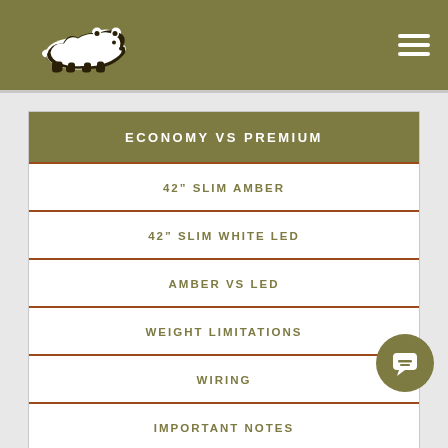Bear logo navigation header with hamburger menu
ECONOMY VS PREMIUM
42" SLIM AMBER
42" SLIM WHITE LED
AMBER VS LED
WEIGHT LIMITATIONS
WIRING
IMPORTANT NOTES
WARRANTY